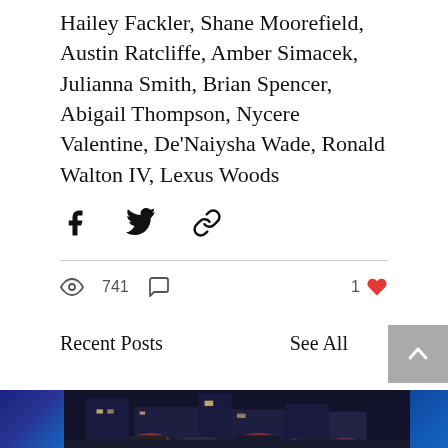Hailey Fackler, Shane Moorefield, Austin Ratcliffe, Amber Simacek, Julianna Smith, Brian Spencer, Abigail Thompson, Nycere Valentine, De'Naiysha Wade, Ronald Walton IV, Lexus Woods
[Figure (infographic): Social sharing icons: Facebook, Twitter, and link/copy icons]
741 views, 0 comments, 1 like
Recent Posts
See All
[Figure (photo): Night photo of police cars with flashing lights at a scene with buildings in background]